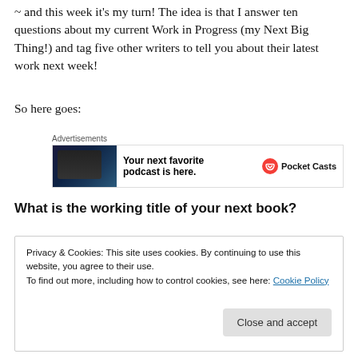~ and this week it's my turn! The idea is that I answer ten questions about my current Work in Progress (my Next Big Thing!) and tag five other writers to tell you about their latest work next week!
So here goes:
[Figure (screenshot): Pocket Casts advertisement banner: 'Your next favorite podcast is here.' with app screenshot and Pocket Casts logo]
What is the working title of your next book?
Privacy & Cookies: This site uses cookies. By continuing to use this website, you agree to their use.
To find out more, including how to control cookies, see here: Cookie Policy
Close and accept